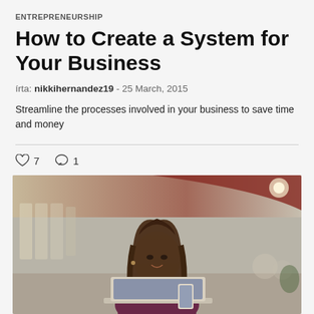ENTREPRENEURSHIP
How to Create a System for Your Business
írta: nikkihernandez19 - 25 March, 2015
Streamline the processes involved in your business to save time and money
♡ 7   ○ 1
[Figure (photo): A young woman with long brown hair smiling while looking at a laptop, in a modern indoor setting with warm-toned decor and blurred background]